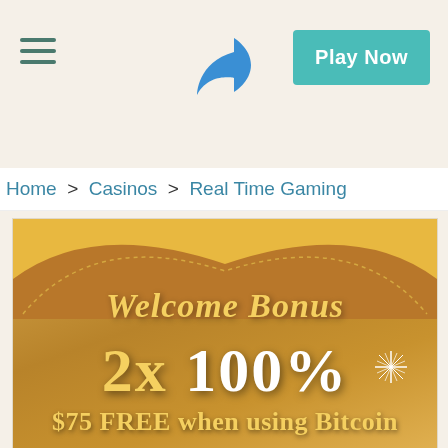≡  [share icon]  Play Now
Home > Casinos > Real Time Gaming
[Figure (illustration): Casino welcome bonus banner with golden/brown tent background, showing 'Welcome Bonus 2x 100% $75 FREE when using Bitcoin' text on decorative background with sparkle star accent]